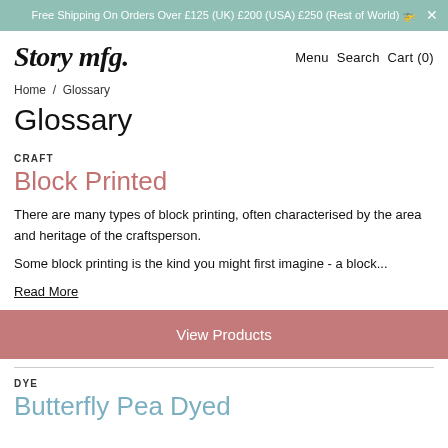Free Shipping On Orders Over £125 (UK) £200 (USA) £250 (Rest of World) 🚁
Story mfg.   Menu  Search  Cart (0)
Home / Glossary
Glossary
CRAFT
Block Printed
There are many types of block printing, often characterised by the area and heritage of the craftsperson.
Some block printing is the kind you might first imagine - a block...
Read More
View Products
DYE
Butterfly Pea Dyed